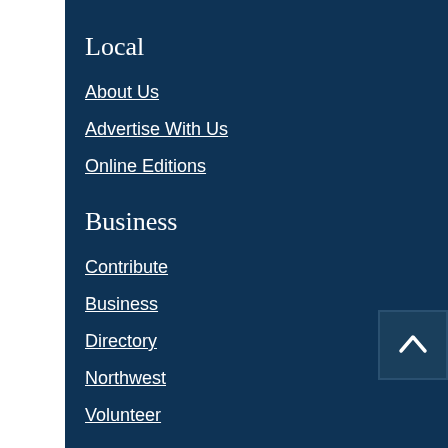Local
About Us
Advertise With Us
Online Editions
Business
Contribute
Business
Directory
Northwest
Volunteer
Community